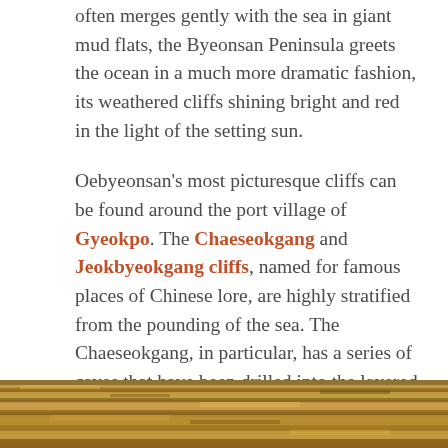often merges gently with the sea in giant mud flats, the Byeonsan Peninsula greets the ocean in a much more dramatic fashion, its weathered cliffs shining bright and red in the light of the setting sun.
Oebyeonsan's most picturesque cliffs can be found around the port village of Gyeokpo. The Chaeseokgang and Jeokbyeokgang cliffs, named for famous places of Chinese lore, are highly stratified from the pounding of the sea. The Chaeseokgang, in particular, has a series of caves that have been drilled into the layered rock by the crashing waves over the centuries. The cliffs – and the rocks below them – are a very popular spot from which to take in the setting sun, particularly with someone you love. There are some coffee shops and raw fish joints near the cliffs, too.
[Figure (photo): Photograph of rocky cliff formations, showing layered golden-brown rock]